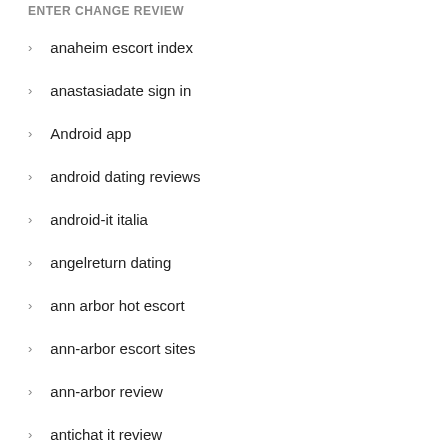ENTER CHANGE REVIEW
anaheim escort index
anastasiadate sign in
Android app
android dating reviews
android-it italia
angelreturn dating
ann arbor hot escort
ann-arbor escort sites
ann-arbor review
antichat it review
antichat reviews